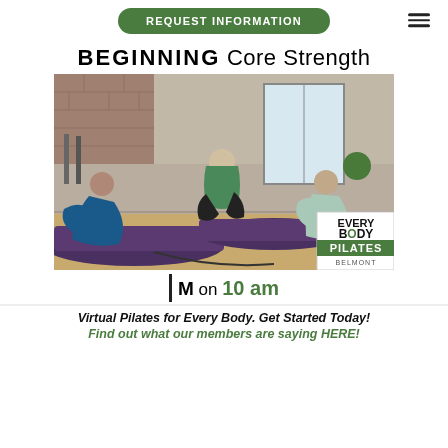REQUEST INFORMATION
BEGINNING Core Strength
[Figure (photo): Three women doing Pilates mat exercises in a studio with hardwood floors and paneled walls. An Every Body Pilates Belmont logo appears in the bottom right corner of the photo.]
M on 10 am
Virtual Pilates for Every Body. Get Started Today!
Find out what our members are saying HERE!